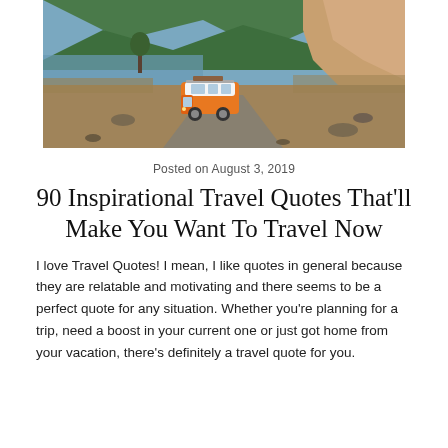[Figure (photo): An orange and white vintage VW van on a dirt road surrounded by rocky terrain, dry grass, trees, and a lake or river with green hills in the background.]
Posted on August 3, 2019
90 Inspirational Travel Quotes That'll Make You Want To Travel Now
I love Travel Quotes! I mean, I like quotes in general because they are relatable and motivating and there seems to be a perfect quote for any situation. Whether you're planning for a trip, need a boost in your current one or just got home from your vacation, there's definitely a travel quote for you.